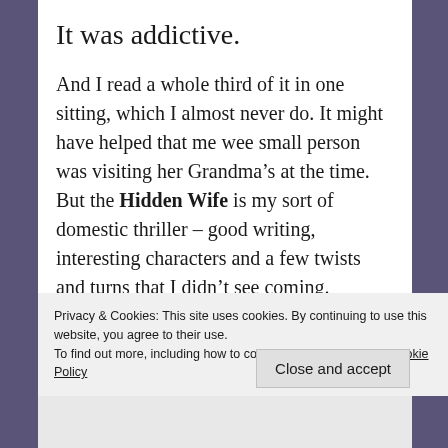It was addictive.
And I read a whole third of it in one sitting, which I almost never do. It might have helped that me wee small person was visiting her Grandma’s at the time. But the Hidden Wife is my sort of domestic thriller – good writing, interesting characters and a few twists and turns that I didn’t see coming.
In short, I thought that it was a great read.
And it features – The BEAST from the east! Did anyone sense the snowstorm that caused the
Privacy & Cookies: This site uses cookies. By continuing to use this website, you agree to their use.
To find out more, including how to control cookies, see here: Cookie Policy
Close and accept